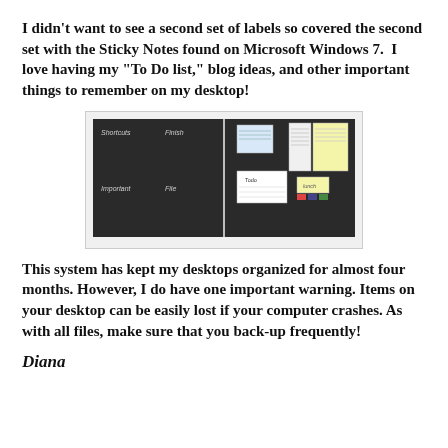I didn't want to see a second set of labels so covered the second set with the Sticky Notes found on Microsoft Windows 7.  I love having my "To Do list," blog ideas, and other important things to remember on my desktop!
[Figure (screenshot): Screenshot of a Windows 7 desktop showing two panels: left panel is a dark chalkboard-style desktop with labels 'Shortcuts', 'Finish', 'File', 'Important'; right panel shows sticky notes overlaid on a similar dark desktop background, with a white sticky note labeled 'Lunch' visible.]
This system has kept my desktops organized for almost four months. However, I do have one important warning. Items on your desktop can be easily lost if your computer crashes. As with all files, make sure that you back-up frequently!
Diana